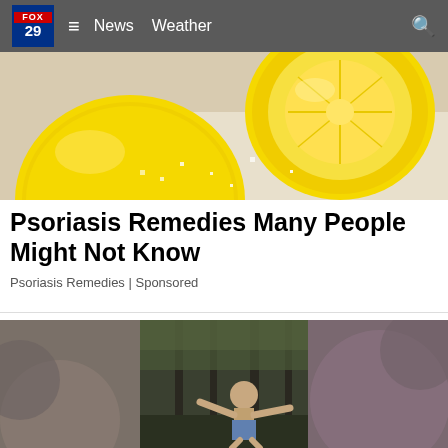FOX 29  ≡  News  Weather
[Figure (photo): Close-up photo of two lemons with sugar/salt crystals on a light surface]
Psoriasis Remedies Many People Might Not Know
Psoriasis Remedies | Sponsored
[Figure (photo): A shirtless person running or moving through a forest, split view with blurred gray sides]